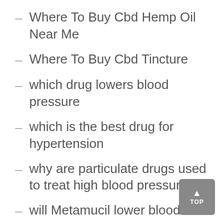Where To Buy Cbd Hemp Oil Near Me
Where To Buy Cbd Tincture
which drug lowers blood pressure
which is the best drug for hypertension
why are particulate drugs used to treat high blood pressure
will Metamucil lower blood sugar
will statins lower your blood pressure
will stopping the pill help weight loss
will water help lower blood sugar
willy male enhancement pills